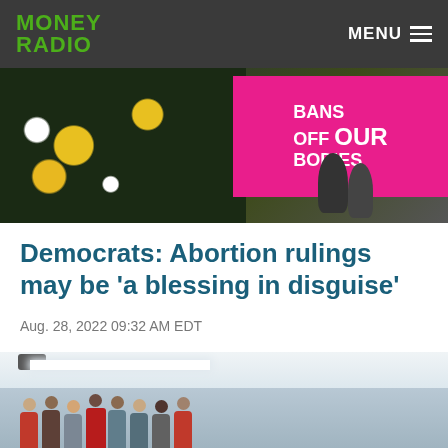MONEY RADIO | MENU
[Figure (photo): Protest photo showing person in floral top with 'Bans Off Our Bodies' pink sign and microphones]
Democrats: Abortion rulings may be 'a blessing in disguise'
Aug. 28, 2022 09:32 AM EDT
[Figure (photo): Indoor community room with people standing and milling around, fluorescent lights overhead]